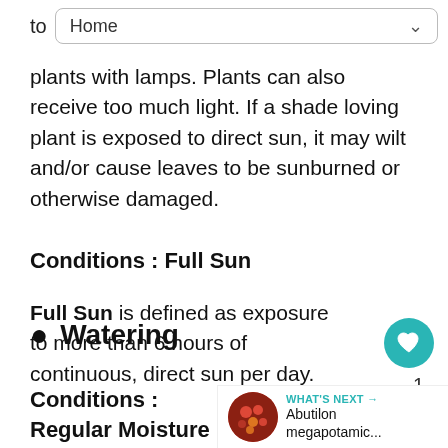to  Home
plants with lamps. Plants can also receive too much light. If a shade loving plant is exposed to direct sun, it may wilt and/or cause leaves to be sunburned or otherwise damaged.
Conditions : Full Sun
Full Sun is defined as exposure to more than 6 hours of continuous, direct sun per day.
💧 Watering
Conditions : Regular Moisture for Outdoor Plants